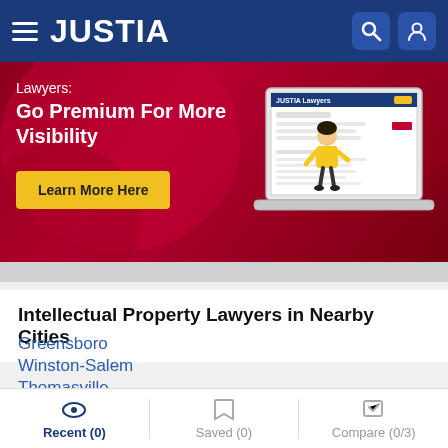JUSTIA
[Figure (screenshot): Justia promotional banner: Lawyers: Go Premium For More Visibility. Learn More Here button. Laptop illustration showing Justia Lawyers page.]
Intellectual Property Lawyers in Nearby Cities
Greensboro
Winston-Salem
Thomasville
Jamestown
Recent (0)   Saved (0)   Compare (0/3)